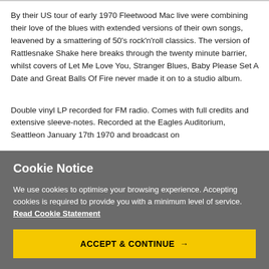By their US tour of early 1970 Fleetwood Mac live were combining their love of the blues with extended versions of their own songs, leavened by a smattering of 50's rock'n'roll classics. The version of Rattlesnake Shake here breaks through the twenty minute barrier, whilst covers of Let Me Love You, Stranger Blues, Baby Please Set A Date and Great Balls Of Fire never made it on to a studio album.
Double vinyl LP recorded for FM radio. Comes with full credits and extensive sleeve-notes. Recorded at the Eagles Auditorium, Seattleon January 17th 1970 and broadcast on
Cookie Notice
We use cookies to optimise your browsing experience. Accepting cookies is required to provide you with a minimum level of service. Read Cookie Statement
ACCEPT & CONTINUE →